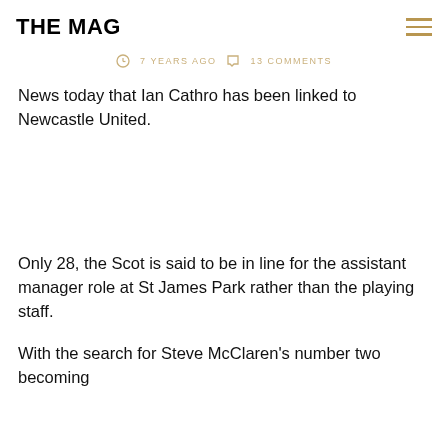THE MAG
7 YEARS AGO   13 COMMENTS
News today that Ian Cathro has been linked to Newcastle United.
Only 28, the Scot is said to be in line for the assistant manager role at St James Park rather than the playing staff.
With the search for Steve McClaren's number two becoming